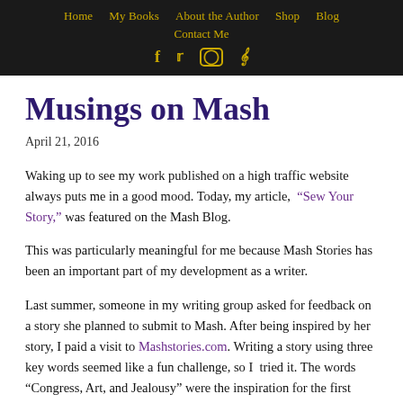Home  My Books  About the Author  Shop  Blog  Contact Me
Musings on Mash
April 21, 2016
Waking up to see my work published on a high traffic website always puts me in a good mood. Today, my article, “Sew Your Story,” was featured on the Mash Blog.
This was particularly meaningful for me because Mash Stories has been an important part of my development as a writer.
Last summer, someone in my writing group asked for feedback on a story she planned to submit to Mash. After being inspired by her story, I paid a visit to Mashstories.com. Writing a story using three key words seemed like a fun challenge, so I tried it. The words “Congress, Art, and Jealousy” were the inspiration for the first flash story I ever wrote. It wasn’t very good, and got rejected,